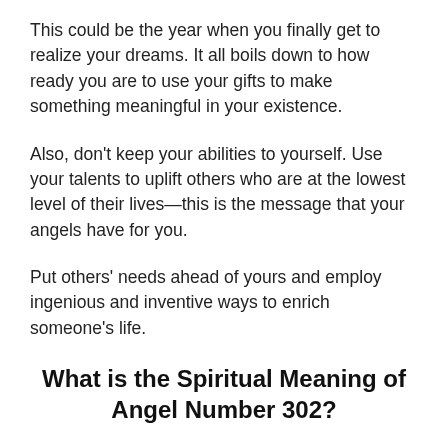This could be the year when you finally get to realize your dreams. It all boils down to how ready you are to use your gifts to make something meaningful in your existence.
Also, don't keep your abilities to yourself. Use your talents to uplift others who are at the lowest level of their lives—this is the message that your angels have for you.
Put others' needs ahead of yours and employ ingenious and inventive ways to enrich someone's life.
What is the Spiritual Meaning of Angel Number 302?